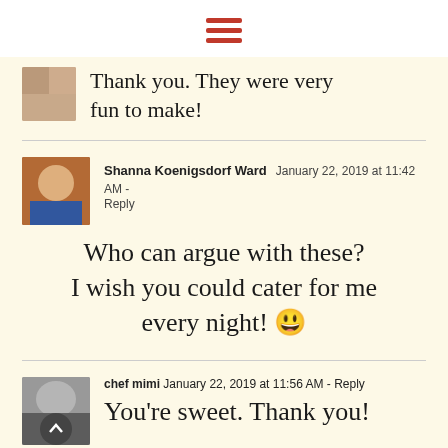[Figure (other): Hamburger menu icon with three horizontal red bars]
Thank you. They were very fun to make!
Shanna Koenigsdorf Ward  January 22, 2019 at 11:42 AM - Reply
Who can argue with these? I wish you could cater for me every night! 😀
chef mimi  January 22, 2019 at 11:56 AM - Reply
You're sweet. Thank you!